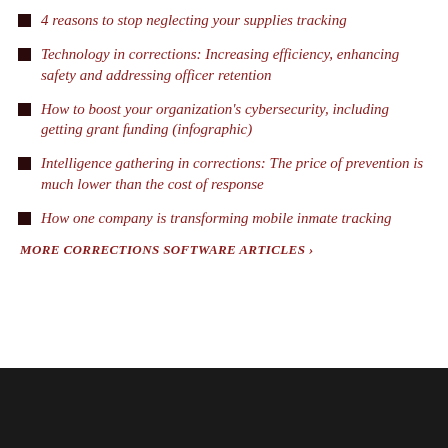4 reasons to stop neglecting your supplies tracking
Technology in corrections: Increasing efficiency, enhancing safety and addressing officer retention
How to boost your organization's cybersecurity, including getting grant funding (infographic)
Intelligence gathering in corrections: The price of prevention is much lower than the cost of response
How one company is transforming mobile inmate tracking
MORE CORRECTIONS SOFTWARE ARTICLES  ›